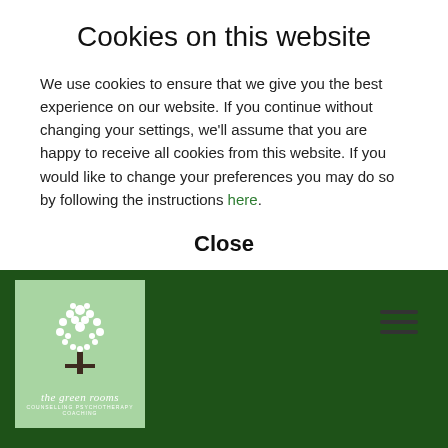Cookies on this website
We use cookies to ensure that we give you the best experience on our website. If you continue without changing your settings, we'll assume that you are happy to receive all cookies from this website. If you would like to change your preferences you may do so by following the instructions here.
Close
[Figure (logo): The green rooms logo — light green square with a white tree illustration and italic text 'the green rooms' with subtitle 'COUNSELLING PSYCHOTHERAPY COACHING' on a dark green background with a hamburger menu icon top right]